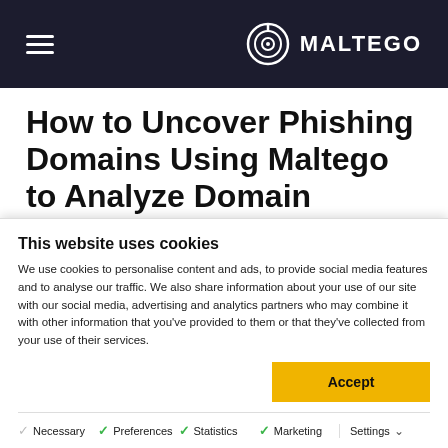MALTEGO (navigation header with logo and hamburger menu)
How to Uncover Phishing Domains Using Maltego to Analyze Domain Infrastructure
[Figure (logo): Partial Maltego hexagon logo icon visible at the bottom of the main content area]
This website uses cookies
We use cookies to personalise content and ads, to provide social media features and to analyse our traffic. We also share information about your use of our site with our social media, advertising and analytics partners who may combine it with other information that you've provided to them or that they've collected from your use of their services.
Accept
Necessary  Preferences  Statistics  Marketing  Settings